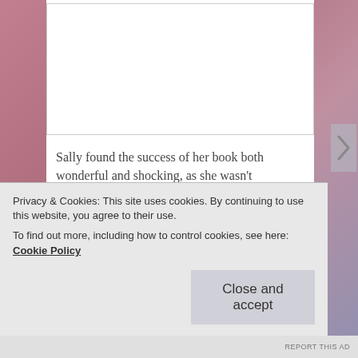[Figure (photo): White rectangular image area at top of content card, appears blank/white in this view]
Sally found the success of her book both wonderful and shocking, as she wasn't expecting it. This smashing success forced her to review her own identity as an artist / writer and to confront her fear of failing to ever produce anything that great again. Facing this fear has enabled her to develop a deep empathy for people who are struggling with the conflicting feelings of – (a) fear of failure and (b) desire to open up to their creative self. Dealing with this struggle, this duality, is a complex thing, but Sally ...
Privacy & Cookies: This site uses cookies. By continuing to use this website, you agree to their use.
To find out more, including how to control cookies, see here: Cookie Policy
Close and accept